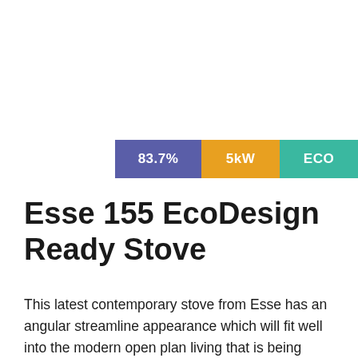[Figure (infographic): Three colored badge labels showing: 83.7% (blue), 5kW (orange), ECO (teal/green)]
Esse 155 EcoDesign Ready Stove
This latest contemporary stove from Esse has an angular streamline appearance which will fit well into the modern open plan living that is being enjoyed today. It is very controllable and clean burning due to